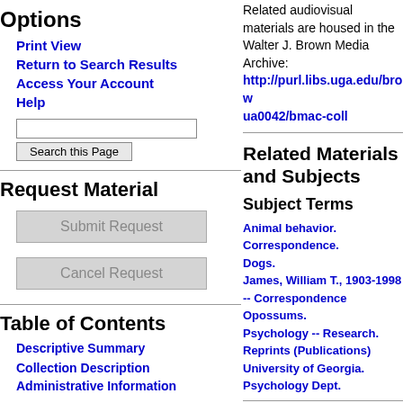Options
Print View
Return to Search Results
Access Your Account
Help
Search this Page [input box and button]
Request Material
Submit Request
Cancel Request
Table of Contents
Descriptive Summary
Collection Description
Administrative Information
Related audiovisual materials are housed in the Walter J. Brown Media Archive: http://purl.libs.uga.edu/brow ua0042/bmac-coll
Related Materials and Subjects
Subject Terms
Animal behavior.
Correspondence.
Dogs.
James, William T., 1903-1998 -- Correspondence
Opossums.
Psychology -- Research.
Reprints (Publications)
University of Georgia. Psychology Dept.
Series Descriptions and Folder Listing